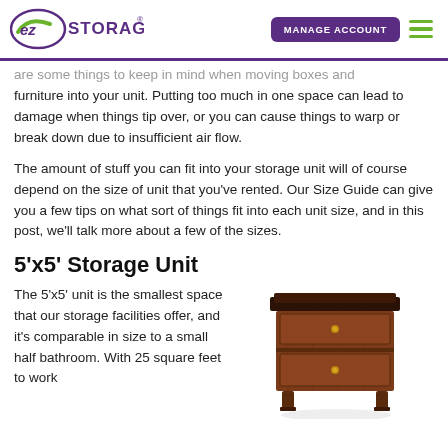EZ Storage | MANAGE ACCOUNT
are some things to keep in mind when moving boxes and furniture into your unit. Putting too much in one space can lead to damage when things tip over, or you can cause things to warp or break down due to insufficient air flow.
The amount of stuff you can fit into your storage unit will of course depend on the size of unit that you've rented. Our Size Guide can give you a few tips on what sort of things fit into each unit size, and in this post, we'll talk more about a few of the sizes.
5’x5’ Storage Unit
The 5’x5’ unit is the smallest space that our storage facilities offer, and it’s comparable in size to a small half bathroom. With 25 square feet to work
[Figure (photo): Photo of a small wooden end table/nightstand with two drawers, dark mahogany finish, on four legs.]